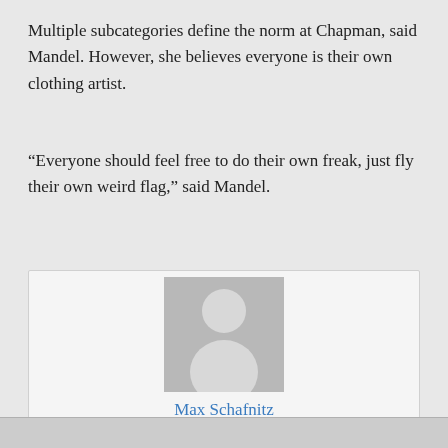Multiple subcategories define the norm at Chapman, said Mandel. However, she believes everyone is their own clothing artist.
“Everyone should feel free to do their own freak, just fly their own weird flag,” said Mandel.
[Figure (photo): Author avatar placeholder image showing a generic silhouette of a person on a grey background]
Max Schafnitz